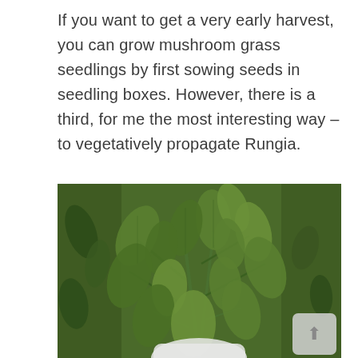If you want to get a very early harvest, you can grow mushroom grass seedlings by first sowing seeds in seedling boxes. However, there is a third, for me the most interesting way – to vegetatively propagate Rungia.
[Figure (photo): Close-up photograph of Rungia (mushroom grass) plant with lush green leaves, multiple branching stems with pointed oval leaves, shot against a blurred green garden background.]